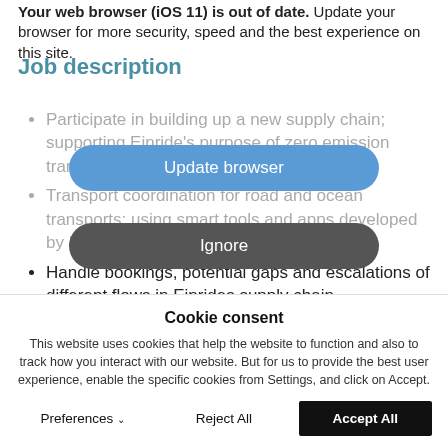Your web browser (iOS 11) is out of date. Update your browser for more security, speed and the best experience on this site.
Job description
[Figure (screenshot): Update browser button overlay (blue rounded rectangle)]
[Figure (screenshot): Ignore button overlay (dark grey rounded rectangle)]
Participate in building up a new supply chain; supporting Einride's purpose of zero emission transport systems
Transport coordination for road and ocean transports; using smart tools and apps developed by Einride (and others)
Handle bookings, potential gaps and escalations of different flows in Einrides supply chain
Cookie consent
This website uses cookies that help the website to function and also to track how you interact with our website. But for us to provide the best user experience, enable the specific cookies from Settings, and click on Accept.
Preferences  Reject All  Accept All